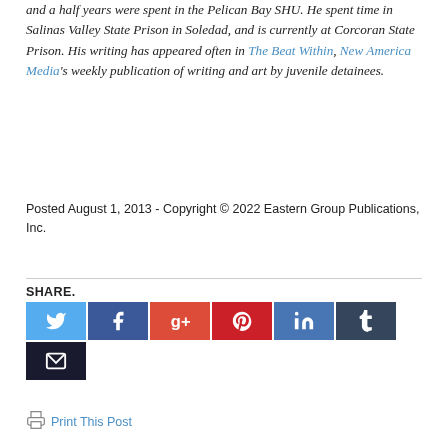and a half years were spent in the Pelican Bay SHU. He spent time in Salinas Valley State Prison in Soledad, and is currently at Corcoran State Prison. His writing has appeared often in The Beat Within, New America Media's weekly publication of writing and art by juvenile detainees.
Posted August 1, 2013 - Copyright © 2022 Eastern Group Publications, Inc.
SHARE.
[Figure (infographic): Social share buttons: Twitter (blue), Facebook (dark blue), Google+ (red-orange), Pinterest (red), LinkedIn (blue), Tumblr (dark navy), Email (dark)]
Print This Post